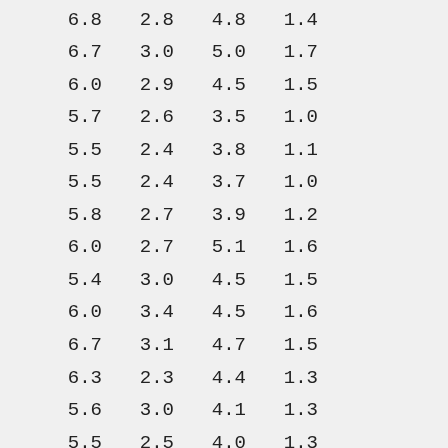| 6.8 | 2.8 | 4.8 | 1.4 |
| 6.7 | 3.0 | 5.0 | 1.7 |
| 6.0 | 2.9 | 4.5 | 1.5 |
| 5.7 | 2.6 | 3.5 | 1.0 |
| 5.5 | 2.4 | 3.8 | 1.1 |
| 5.5 | 2.4 | 3.7 | 1.0 |
| 5.8 | 2.7 | 3.9 | 1.2 |
| 6.0 | 2.7 | 5.1 | 1.6 |
| 5.4 | 3.0 | 4.5 | 1.5 |
| 6.0 | 3.4 | 4.5 | 1.6 |
| 6.7 | 3.1 | 4.7 | 1.5 |
| 6.3 | 2.3 | 4.4 | 1.3 |
| 5.6 | 3.0 | 4.1 | 1.3 |
| 5.5 | 2.5 | 4.0 | 1.3 |
| 5.5 | 2.6 | 4.4 | 1.2 |
| 6.1 | 3.0 | 4.6 | 1.4 |
| 5.8 | 2.6 | 4.0 | 1.2 |
| 5.0 | 2.3 | 3.3 | 1.0 |
| 5.6 | 2.7 | 4.2 | 1.3 |
| 5.7 | 3.0 | 4.2 | 1.2 |